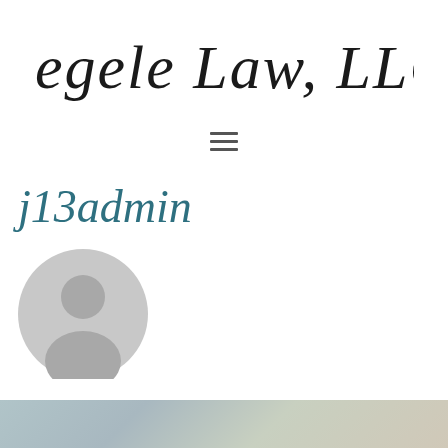[Figure (logo): Regele Law, LLC logo in cursive/script font]
[Figure (other): Hamburger/navigation menu icon with three horizontal lines]
j13admin
[Figure (illustration): Default user avatar — grey circle with silhouette of a person (head and shoulders)]
[Figure (photo): Partial bottom image strip, appears to be a blurred/cropped photograph]